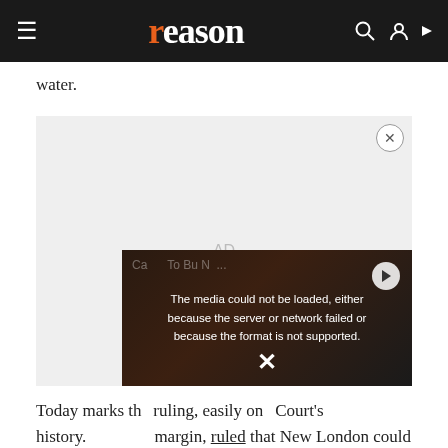reason
water.
[Figure (other): Advertisement placeholder area with 'AD' label and video player overlay showing error message: 'The media could not be loaded, either because the server or network failed or because the format is not supported.']
Today marks the ruling, easily on Court's history. margin, ruled that New London could take homes and